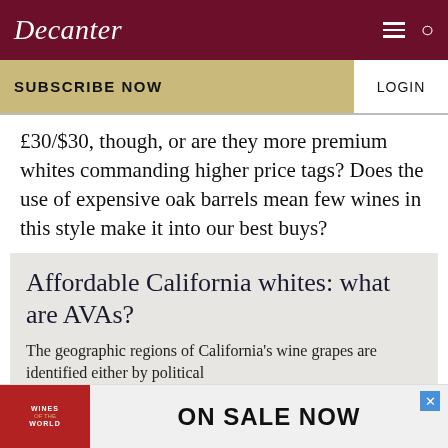Decanter
SUBSCRIBE NOW | LOGIN
£30/$30, though, or are they more premium whites commanding higher price tags? Does the use of expensive oak barrels mean few wines in this style make it into our best buys?
Affordable California whites: what are AVAs?
The geographic regions of California's wine grapes are identified either by political
[Figure (advertisement): Advertisement banner: Wines of the World magazine - ON SALE NOW]